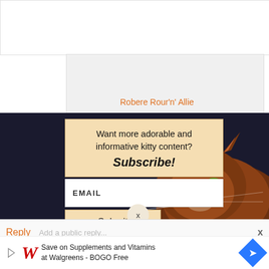[Figure (screenshot): Screenshot of a website with a modal popup overlay. The modal is on a dark navy background with a cat (appears to be a Somali or tabby cat with green eyes) visible in the background. The modal has a beige/tan top section with text and a subscribe call-to-action, a white email input field, and a beige submit button. There is a circular X close button below the modal. At the bottom is a reply bar and a Walgreens advertisement banner.]
Want more adorable and informative kitty content? Subscribe!
EMAIL
Submit
x
Reply
Save on Supplements and Vitamins at Walgreens - BOGO Free